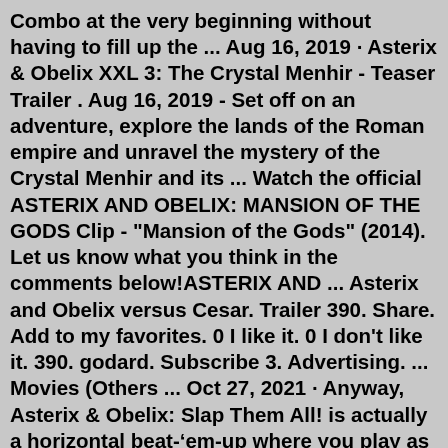Combo at the very beginning without having to fill up the ... Aug 16, 2019 · Asterix & Obelix XXL 3: The Crystal Menhir - Teaser Trailer . Aug 16, 2019 - Set off on an adventure, explore the lands of the Roman empire and unravel the mystery of the Crystal Menhir and its ... Watch the official ASTERIX AND OBELIX: MANSION OF THE GODS Clip - "Mansion of the Gods" (2014). Let us know what you think in the comments below!ASTERIX AND ... Asterix and Obelix versus Cesar. Trailer 390. Share. Add to my favorites. 0 I like it. 0 I don't like it. 390. godard. Subscribe 3. Advertising. ... Movies (Others ... Oct 27, 2021 · Anyway, Asterix & Obelix: Slap Them All! is actually a horizontal beat-'em-up where you play as Asterix & Obelix, changing between them at will, while you slap away at a variety of enemies. Well, maybe 'variety' is pushing it. Though the preview only included a limited number of levels, the enemies seem to be generic, big, and chariot. Trailers - Astérix & Obélix: Mission Cléopâtre: Asterix and the gang give some Egyptian slaves a hand in a disappointing...